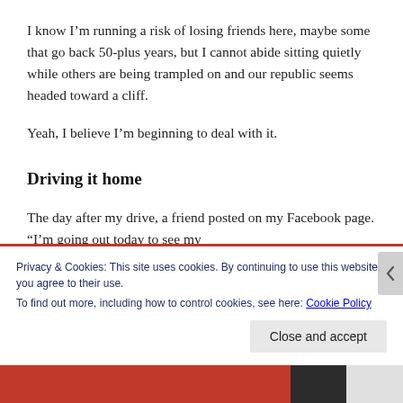I know I’m running a risk of losing friends here, maybe some that go back 50-plus years, but I cannot abide sitting quietly while others are being trampled on and our republic seems headed toward a cliff.
Yeah, I believe I’m beginning to deal with it.
Driving it home
The day after my drive, a friend posted on my Facebook page. “I’m going out today to see my
Privacy & Cookies: This site uses cookies. By continuing to use this website, you agree to their use.
To find out more, including how to control cookies, see here: Cookie Policy